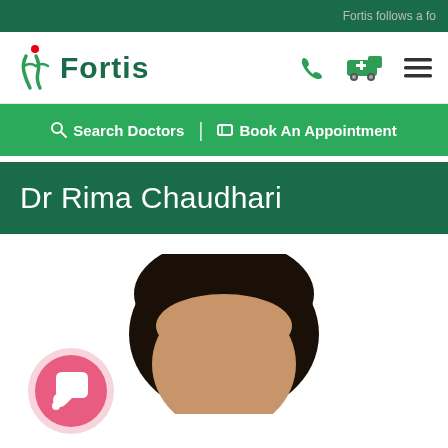Fortis follows a fo
[Figure (logo): Fortis Healthcare logo with green human figure icon and 'Fortis' text in green]
[Figure (illustration): Navigation icons: phone, ambulance, hamburger menu]
Search Doctors | Book An Appointment
Dr Rima Chaudhari
[Figure (photo): Partial photo of Dr Rima Chaudhari showing the top of her head with dark hair]
[Figure (illustration): Pink circular chat/messaging button with speech bubble icon]